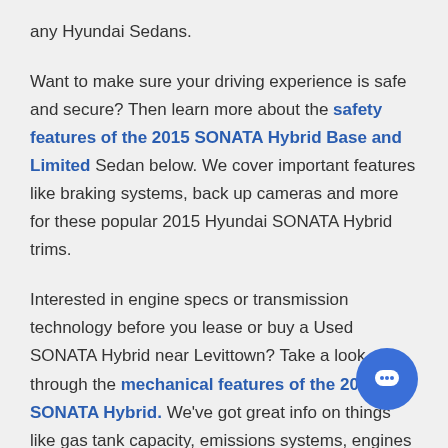any Hyundai Sedans.
Want to make sure your driving experience is safe and secure? Then learn more about the safety features of the 2015 SONATA Hybrid Base and Limited Sedan below. We cover important features like braking systems, back up cameras and more for these popular 2015 Hyundai SONATA Hybrid trims.
Interested in engine specs or transmission technology before you lease or buy a Used SONATA Hybrid near Levittown? Take a look through the mechanical features of the 2015 SONATA Hybrid. We've got great info on things like gas tank capacity, emissions systems, engines and more.